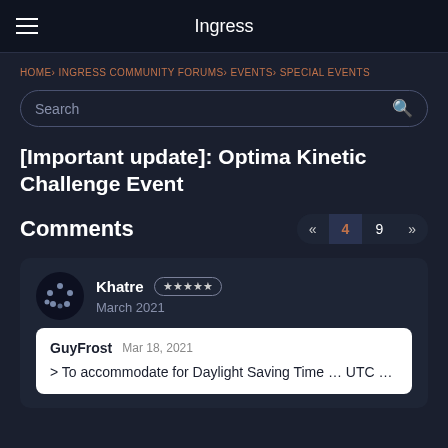Ingress
HOME› INGRESS COMMUNITY FORUMS› EVENTS› SPECIAL EVENTS
[Important update]: Optima Kinetic Challenge Event
Comments
Khatre ★★★★★ March 2021
GuyFrost  Mar 18, 2021
> To accommodate for Daylight Saving Time … UTC …